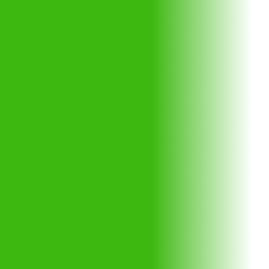MOSS
MOSS
MOSS
MOSS
MOSS
MOSS
MUCCI
MUCCI
MUCCI
MUCCI
MUCCI
MUCCI
MUCCI
MUCCI
MUCCI
MUCCI
MUCCI
MUCCI
MUCCI
MUCCI
MULLENS
MULLENS
MULLER